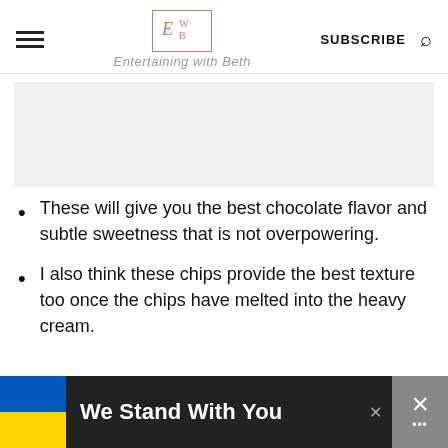Entertaining with Beth — SUBSCRIBE
[Figure (other): Gray placeholder rectangle (image content area)]
These will give you the best chocolate flavor and subtle sweetness that is not overpowering.
I also think these chips provide the best texture too once the chips have melted into the heavy cream.
[Figure (infographic): Ad bar at bottom: Ukrainian flag colors (blue and yellow), text 'We Stand With You', close button and X icon]